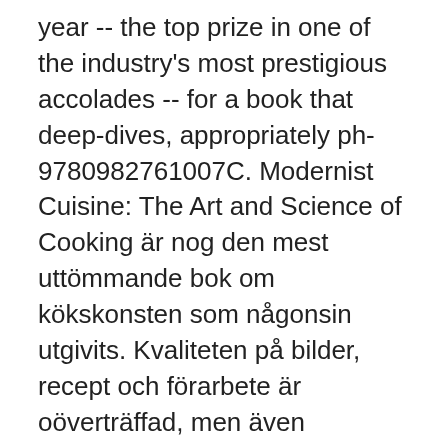year -- the top prize in one of the industry's most prestigious accolades -- for a book that deep-dives, appropriately ph-9780982761007C. Modernist Cuisine: The Art and Science of Cooking är nog den mest uttömmande bok om kökskonsten som någonsin utgivits. Kvaliteten på bilder, recept och förarbete är oöverträffad, men även kvantiteten är imponerande; fördelat över sex böcker (varav en är vattentät för köksförhållanden) och 2.438 sidor samsas vetenskapliga rön om Myhrvold says he's working on a cookbook covering sous-vide and other new culinary techniques. But until that's finished ("It will be done someday," he promises), here are some of his tips for 2009-11-17 · Nathan Myhrvold, a former chief technology officer at the software company, is testing food in a lab near Seattle for a specialized cookbook. After Nathan